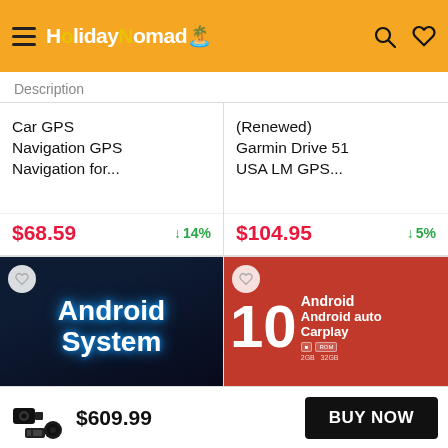HolidayNomad
Description
Car GPS Navigation GPS Navigation for...
$68.59  ↓14%
(Renewed) Garmin Drive 51 USA LM GPS...
$104.95  ↓5%
[Figure (screenshot): Android System car stereo product image with glowing blue Android logo on dark background]
[Figure (screenshot): Android 10 Android auto Carplay car stereo product image on red background with 2GB 32GB specs]
$609.99
BUY NOW